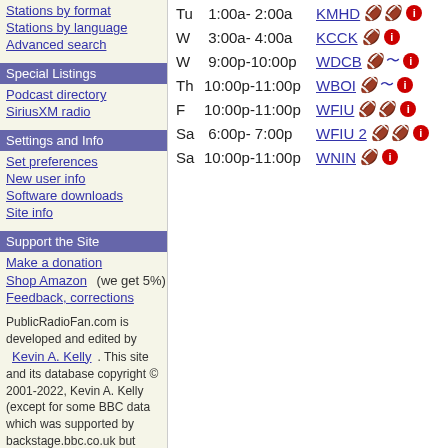Stations by format
Stations by language
Advanced search
Special Listings
Podcast directory
SiriusXM radio
Settings and Info
Set preferences
New user info
Software downloads
Site info
Support the Site
Make a donation
Shop Amazon (we get 5%)
Feedback, corrections
PublicRadioFan.com is developed and edited by Kevin A. Kelly. This site and its database copyright © 2001-2022, Kevin A. Kelly (except for some BBC data which was supported by backstage.bbc.co.uk but stopped updating mid-2017).
Tu 1:00a- 2:00a KMHD
W 3:00a- 4:00a KCCK
W 9:00p-10:00p WDCB
Th 10:00p-11:00p WBOI
F 10:00p-11:00p WFIU
Sa 6:00p- 7:00p WFIU 2
Sa 10:00p-11:00p WNIN